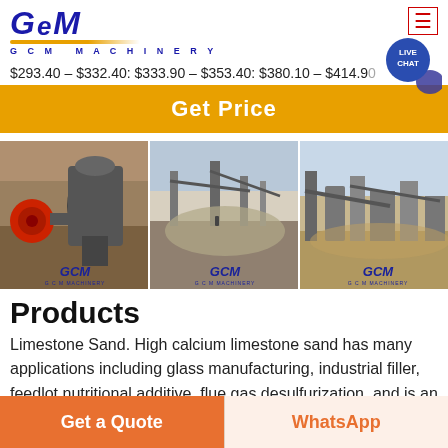[Figure (logo): GCM Machinery logo with blue italic text and gold underline]
$293.40 – $332.40: $333.90 – $353.40: $380.10 – $414.90
Get Price
[Figure (photo): Three industrial machinery photos with GCM watermarks: grinding mill equipment, mining facility, and ore processing plant]
Products
Limestone Sand. High calcium limestone sand has many applications including glass manufacturing, industrial filler, feedlot nutritional additive, flue gas desulfurization, and is an essential source of calcium for other industrial
Get a Quote
WhatsApp